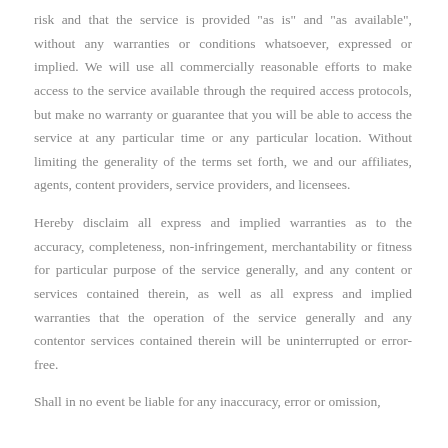risk and that the service is provided "as is" and "as available", without any warranties or conditions whatsoever, expressed or implied. We will use all commercially reasonable efforts to make access to the service available through the required access protocols, but make no warranty or guarantee that you will be able to access the service at any particular time or any particular location. Without limiting the generality of the terms set forth, we and our affiliates, agents, content providers, service providers, and licensees.
Hereby disclaim all express and implied warranties as to the accuracy, completeness, non-infringement, merchantability or fitness for particular purpose of the service generally, and any content or services contained therein, as well as all express and implied warranties that the operation of the service generally and any contentor services contained therein will be uninterrupted or error-free.
Shall in no event be liable for any inaccuracy, error or omission...